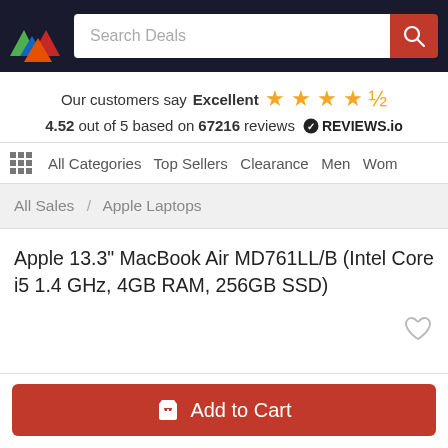Search Deals
Our customers say Excellent 4.52 out of 5 based on 67216 reviews REVIEWS.io
All Categories  Top Sellers  Clearance  Men  Wom
All Sales / Apple Laptops
Apple 13.3" MacBook Air MD761LL/B (Intel Core i5 1.4 GHz, 4GB RAM, 256GB SSD)
Add to Cart